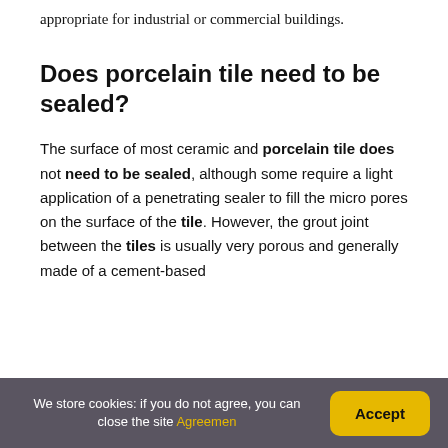appropriate for industrial or commercial buildings.
Does porcelain tile need to be sealed?
The surface of most ceramic and porcelain tile does not need to be sealed, although some require a light application of a penetrating sealer to fill the micro pores on the surface of the tile. However, the grout joint between the tiles is usually very porous and generally made of a cement-based
We store cookies: if you do not agree, you can close the site Agreemen  Accept